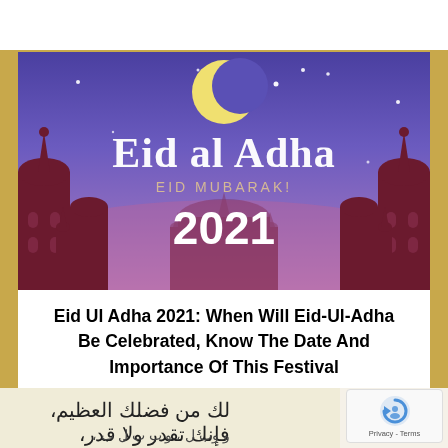[Figure (illustration): Eid al Adha EID MUBARAK! 2021 decorative image with purple/violet gradient sky background, crescent moon, stars, and mosque silhouettes in dark maroon/burgundy]
Eid Ul Adha 2021: When Will Eid-Ul-Adha Be Celebrated, Know The Date And Importance Of This Festival
[Figure (photo): Arabic text strip at the bottom of the page showing Islamic calligraphy text in black on a light background, with a reCAPTCHA Privacy - Terms badge in the bottom right corner]